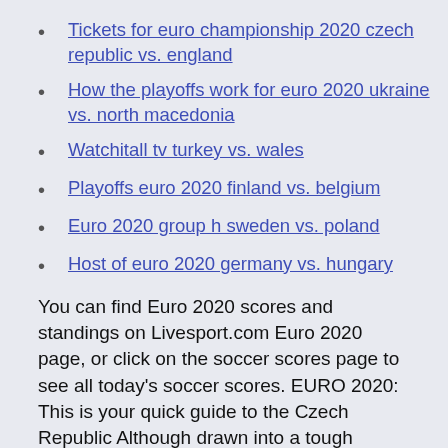Tickets for euro championship 2020 czech republic vs. england
How the playoffs work for euro 2020 ukraine vs. north macedonia
Watchitall tv turkey vs. wales
Playoffs euro 2020 finland vs. belgium
Euro 2020 group h sweden vs. poland
Host of euro 2020 germany vs. hungary
You can find Euro 2020 scores and standings on Livesport.com Euro 2020 page, or click on the soccer scores page to see all today's soccer scores. EURO 2020: This is your quick guide to the Czech Republic Although drawn into a tough Group D, the Czech Republic will be a hard team to break down and if